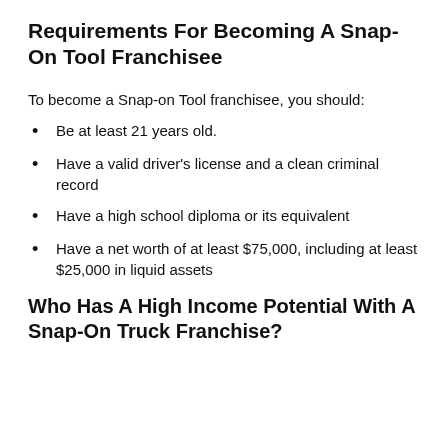Requirements For Becoming A Snap-On Tool Franchisee
To become a Snap-on Tool franchisee, you should:
Be at least 21 years old.
Have a valid driver's license and a clean criminal record
Have a high school diploma or its equivalent
Have a net worth of at least $75,000, including at least $25,000 in liquid assets
Who Has A High Income Potential With A Snap-On Truck Franchise?